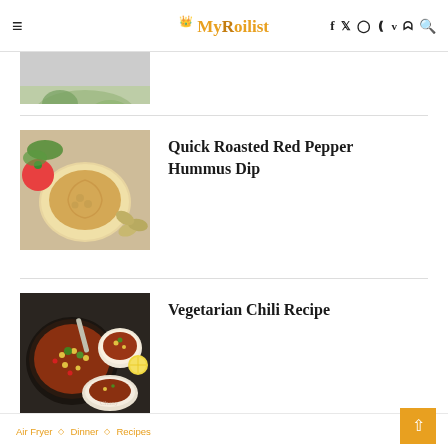My Roilist — navigation header with social icons
[Figure (photo): Partial view of a salad or vegetable dish from above]
[Figure (photo): Bowl of hummus dip with chickpeas, tomato and pistachios around it]
Quick Roasted Red Pepper Hummus Dip
[Figure (photo): Vegetarian chili in a cast iron skillet with bowls of chili topped with herbs and lime]
Vegetarian Chili Recipe
Air Fryer ◇ Dinner ◇ Recipes